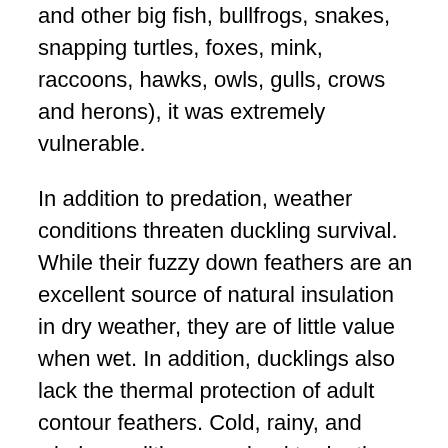and other big fish, bullfrogs, snakes, snapping turtles, foxes, mink, raccoons, hawks, owls, gulls, crows and herons), it was extremely vulnerable.
In addition to predation, weather conditions threaten duckling survival.  While their fuzzy down feathers are an excellent source of natural insulation in dry weather, they are of little value when wet. In addition, ducklings also lack the thermal protection of adult contour feathers. Cold, rainy, and windy conditions can lead to death from exposure (hypothermia) and may reduce food availability.
There was no obvious explanation for why this duckling was not in the company of its mother and siblings.  One can only hope that they were reunited in short order, as there is a bit more safety in numbers. Hopefully the fortitude it took for this youngster to leap from its nest cavity to the water below will serve it well in the days to